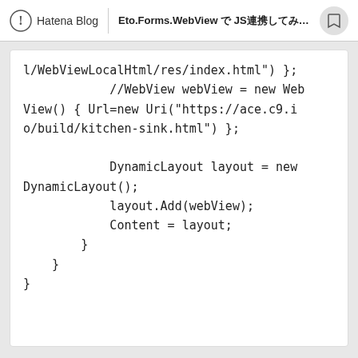Hatena Blog | Eto.Forms.WebView で JS連携してみた Ac...
l/WebViewLocalHtml/res/index.html") };
            //WebView webView = new Web
View() { Url=new Uri("https://ace.c9.i
o/build/kitchen-sink.html") };

            DynamicLayout layout = new
DynamicLayout();
            layout.Add(webView);
            Content = layout;
        }
    }
}